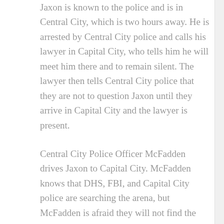Jaxon is known to the police and is in Central City, which is two hours away. He is arrested by Central City police and calls his lawyer in Capital City, who tells him he will meet him there and to remain silent. The lawyer then tells Central City police that they are not to question Jaxon until they arrive in Capital City and the lawyer is present.
Central City Police Officer McFadden drives Jaxon to Capital City. McFadden knows that DHS, FBI, and Capital City police are searching the arena, but McFadden is afraid they will not find the bomb in time. By the time that McFadden and Jaxon arrive in Central city, the concert hall is already full of audience members, and the show is set to begin in twenty minutes.
McFadden, who knows Jaxons family from previous police contacts, tells Jaxon that his mother and two